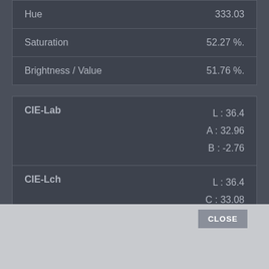| Property | Value |
| --- | --- |
| Hue | 333.03 |
| Saturation | 52.27 %. |
| Brightness / Value | 51.76 %. |
| Property | Value |
| --- | --- |
| CIE-Lab | L : 36.4
A : 32.96
B : -2.76 |
| CIE-Lch | L : 36.4
C : 33.08
H : 355.22 |
| CIE-Luv | L : 36.4
U : 41.71
V : -8.73 |
| Hunter-Lab | L : 36.56
A : 24.38
B : -0.2 |